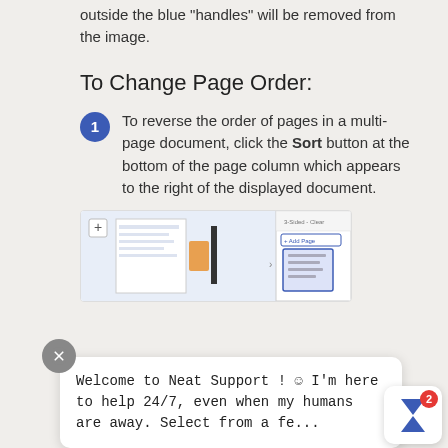outside the blue "handles" will be removed from the image.
To Change Page Order:
To reverse the order of pages in a multi-page document, click the Sort button at the bottom of the page column which appears to the right of the displayed document.
[Figure (screenshot): Screenshot of a document editing interface showing a page column with sort controls and Add Page button on the right side.]
Welcome to Neat Support ! 😊 I'm here to help 24/7, even when my humans are away. Select from a fe...